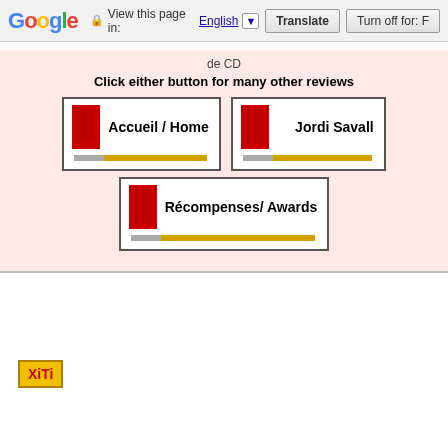Google Translate bar — View this page in: English [▼] | Translate | Turn off for: F
de CD
Click either button for many other reviews
[Figure (screenshot): Three navigation buttons with red block icon and gold slider: Accueil / Home, Jordi Savall, Récompenses/ Awards]
[Figure (logo): XiTi logo — yellow/orange background with red text]